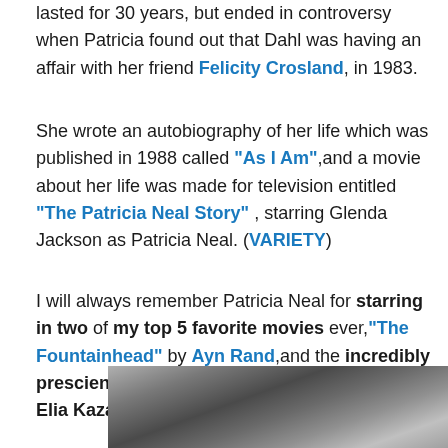lasted for 30 years, but ended in controversy when Patricia found out that Dahl was having an affair with her friend Felicity Crosland, in 1983.
She wrote an autobiography of her life which was published in 1988 called "As I Am",and a movie about her life was made for television entitled "The Patricia Neal Story" , starring Glenda Jackson as Patricia Neal. (VARIETY)
I will always remember Patricia Neal for starring in two of my top 5 favorite movies ever,"The Fountainhead" by Ayn Rand,and the incredibly prescient "A Face In The Crowd" by director Elia Kazan and writer Bud Schulberg.
[Figure (photo): Black and white photograph, partially visible at bottom of page, showing what appears to be a scene from a film or photograph.]